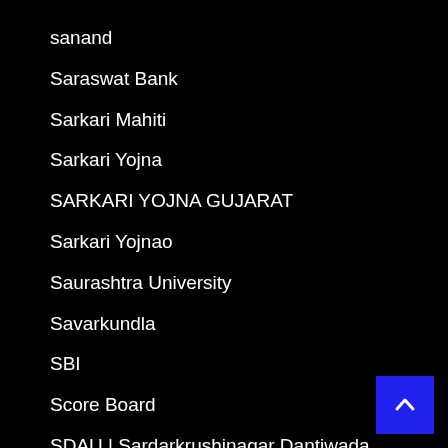sanand
Saraswat Bank
Sarkari Mahiti
Sarkari Yojna
SARKARI YOJNA GUJARAT
Sarkari Yojnao
Saurashtra University
Savarkundla
SBI
Score Board
SDAU | Sardarkrushinagar Dantiwada Agricultural University
SEB | State Examination Board
SEB Result
SEBI